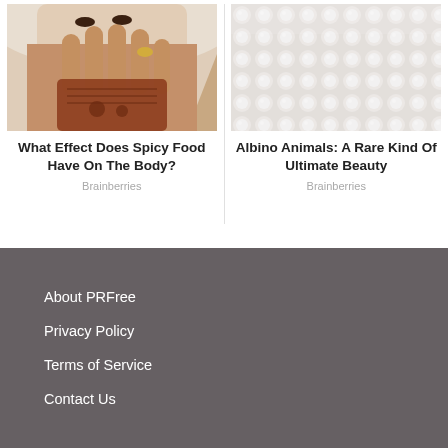[Figure (photo): Photo of a person in a white hijab showing hands with henna/mehndi design]
What Effect Does Spicy Food Have On The Body?
Brainberries
[Figure (photo): Close-up photo of an albino animal showing white textured fur or skin]
Albino Animals: A Rare Kind Of Ultimate Beauty
Brainberries
About PRFree
Privacy Policy
Terms of Service
Contact Us